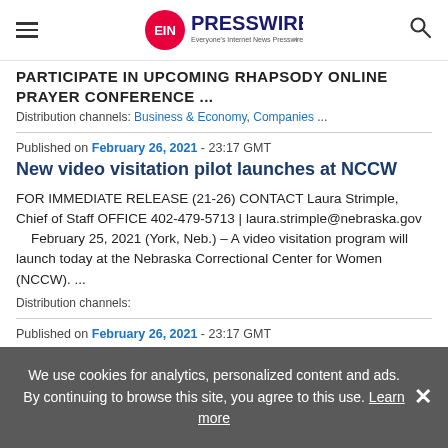EIN PRESSWIRE — Everyone's Internet News Presswire
PARTICIPATE IN UPCOMING RHAPSODY ONLINE PRAYER CONFERENCE ...
Distribution channels: Business & Economy, Companies ...
Published on February 26, 2021 - 23:17 GMT
New video visitation pilot launches at NCCW
FOR IMMEDIATE RELEASE (21-26) CONTACT Laura Strimple, Chief of Staff OFFICE 402-479-5713 | laura.strimple@nebraska.gov     February 25, 2021 (York, Neb.) – A video visitation program will launch today at the Nebraska Correctional Center for Women (NCCW). ...
Distribution channels:
Published on February 26, 2021 - 23:17 GMT
Missing CCC-L inmate arrested
We use cookies for analytics, personalized content and ads. By continuing to browse this site, you agree to this use. Learn more